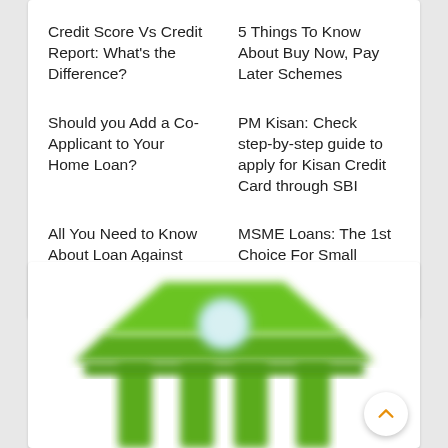Credit Score Vs Credit Report: What's the Difference?
5 Things To Know About Buy Now, Pay Later Schemes
Should you Add a Co-Applicant to Your Home Loan?
PM Kisan: Check step-by-step guide to apply for Kisan Credit Card through SBI
All You Need to Know About Loan Against PPF
MSME Loans: The 1st Choice For Small Business Owners
[Figure (illustration): Green cartoon bank/institution building with columns and a circular emblem, blurred style illustration on white background]